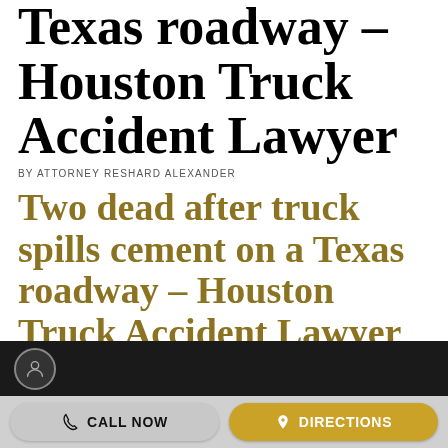Texas roadway – Houston Truck Accident Lawyer
BY ATTORNEY RESHARD ALEXANDER
Two dead after truck spills cement on a Texas roadway – Houston Truck Accident Lawyer
[Figure (photo): Dark background image strip with a circular avatar/icon on the left]